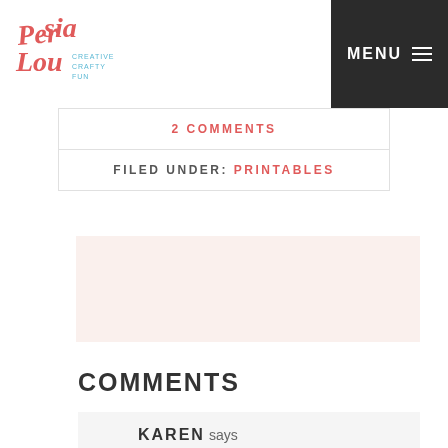Persia Lou — CREATIVE CRAFTY FUN | MENU
2 COMMENTS
FILED UNDER: PRINTABLES
[Figure (other): Light pink/blush colored advertisement placeholder block]
COMMENTS
KAREN says